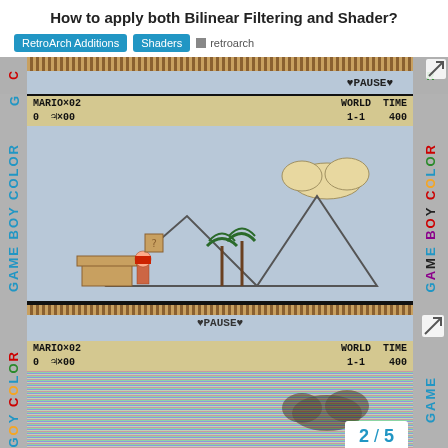How to apply both Bilinear Filtering and Shader?
RetroArch Additions  Shaders  retroarch
[Figure (screenshot): Partial top strip of Game Boy Color emulator showing PAUSE screen]
[Figure (screenshot): Game Boy Color emulator showing Super Mario Land 2 gameplay with GAME BOY COLOR branding on sides. Screen shows MARIO x02 WORLD TIME 0 coin x00 1-1 400, with pyramid level and PAUSE text at bottom.]
[Figure (screenshot): Game Boy Color emulator showing same level with scanline/shader effect applied. Screen shows MARIO x02 WORLD TIME 0 coin x00 1-1 400 with rainbow scanline shader overlay.]
2 / 5